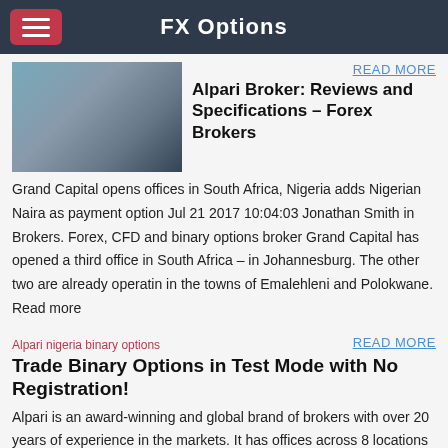FX Options
[Figure (photo): Building exterior photo — glass and concrete architecture with trees]
READ MORE
Alpari Broker: Reviews and Specifications – Forex Brokers
Grand Capital opens offices in South Africa, Nigeria adds Nigerian Naira as payment option Jul 21 2017 10:04:03 Jonathan Smith in Brokers. Forex, CFD and binary options broker Grand Capital has opened a third office in South Africa – in Johannesburg. The other two are already operatin in the towns of Emalehleni and Polokwane. Read more
[Figure (photo): Alpari nigeria binary options — broken/missing image placeholder]
READ MORE
Trade Binary Options in Test Mode with No Registration!
Alpari is an award-winning and global brand of brokers with over 20 years of experience in the markets. It has offices across 8 locations